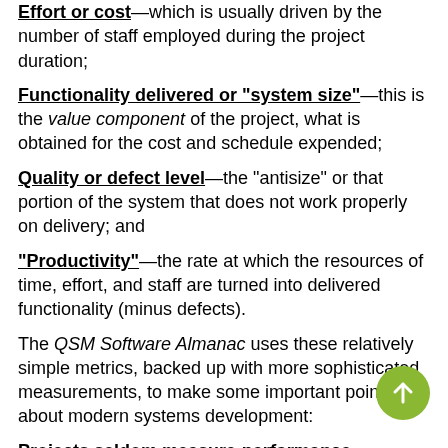Effort or cost—which is usually driven by the number of staff employed during the project duration;
Functionality delivered or "system size"—this is the value component of the project, what is obtained for the cost and schedule expended;
Quality or defect level—the "antisize" or that portion of the system that does not work properly on delivery; and
"Productivity"—the rate at which the resources of time, effort, and staff are turned into delivered functionality (minus defects).
The QSM Software Almanac uses these relatively simple metrics, backed up with more sophisticated measurements, to make some important points about modern systems development:
Projects seldom measure performance. Most projects in QSM's database measure and report schedule, effort, and size, but only one-third of the projects actually use this data to assess their